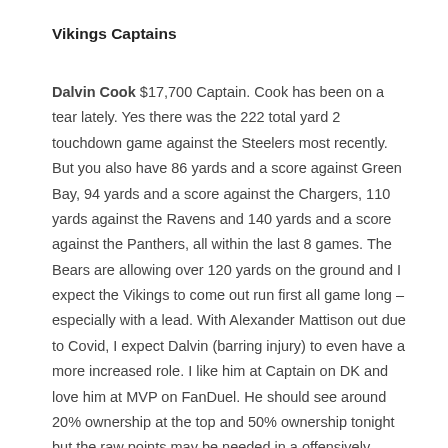Vikings Captains
Dalvin Cook $17,700 Captain. Cook has been on a tear lately. Yes there was the 222 total yard 2 touchdown game against the Steelers most recently. But you also have 86 yards and a score against Green Bay, 94 yards and a score against the Chargers, 110 yards against the Ravens and 140 yards and a score against the Panthers, all within the last 8 games. The Bears are allowing over 120 yards on the ground and I expect the Vikings to come out run first all game long – especially with a lead. With Alexander Mattison out due to Covid, I expect Dalvin (barring injury) to even have a more increased role. I like him at Captain on DK and love him at MVP on FanDuel. He should see around 20% ownership at the top and 50% ownership tonight but the raw points may be needed in a offensively